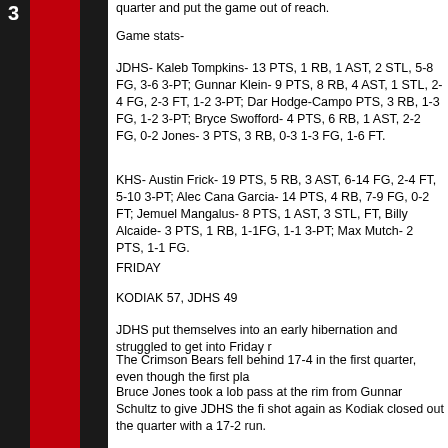quarter and put the game out of reach.
Game stats-
JDHS- Kaleb Tompkins- 13 PTS, 1 RB, 1 AST, 2 STL, 5-8 FG, 3-6 3-PT; Gunnar Klein- 9 PTS, 8 RB, 4 AST, 1 STL, 2-4 FG, 2-3 FT, 1-2 3-PT; Dar Hodge-Campos- PTS, 3 RB, 1-3 FG, 1-2 3-PT; Bryce Swofford- 4 PTS, 6 RB, 1 AST, 2-2 FG, 0-2 Jones- 3 PTS, 3 RB, 0-3 1-3 FG, 1-6 FT.
KHS- Austin Frick- 19 PTS, 5 RB, 3 AST, 6-14 FG, 2-4 FT, 5-10 3-PT; Alec Cana Garcia- 14 PTS, 4 RB, 7-9 FG, 0-2 FT; Jemuel Mangalus- 8 PTS, 1 AST, 3 STL, FT, Billy Alcaide- 3 PTS, 1 RB, 1-1FG, 1-1 3-PT; Max Mutch- 2 PTS, 1-1 FG.
FRIDAY
KODIAK 57, JDHS 49
JDHS put themselves into an early hibernation and struggled to get into Friday r
The Crimson Bears fell behind 17-4 in the first quarter, even though the first pla
Bruce Jones took a lob pass at the rim from Gunnar Schultz to give JDHS the fi shot again as Kodiak closed out the quarter with a 17-2 run.
Coach Robert Casperson had the Crimson Bears in a half-court trap and Kodiak second quarter.
JDHS found the rim a bit kinder as they tallied 15 points with Kevin Guimmayen nailed a shot from beyond the arch and Dartanan Campos-Hodge followed a mi
Defensively JDHS could not hold down Kodiak as six different Bears tallied in th in the quarter and Scott Garcia four of his nine game points to give the visitors a
After a bleak eight minutes in the third quarter by both teams the Crimson Bears